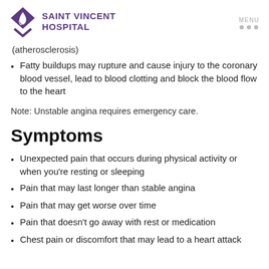Saint Vincent Hospital | MENU
(atherosclerosis)
Fatty buildups may rupture and cause injury to the coronary blood vessel, lead to blood clotting and block the blood flow to the heart
Note: Unstable angina requires emergency care.
Symptoms
Unexpected pain that occurs during physical activity or when you're resting or sleeping
Pain that may last longer than stable angina
Pain that may get worse over time
Pain that doesn't go away with rest or medication
Chest pain or discomfort that may lead to a heart attack